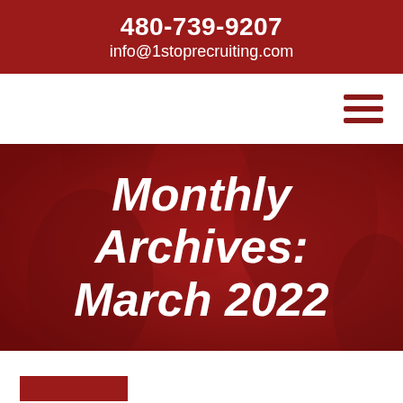480-739-9207
info@1stoprecruiting.com
[Figure (other): Hamburger menu icon (three horizontal dark red bars)]
Monthly Archives: March 2022
[Figure (other): Red rectangle partially visible at bottom of page, likely a button or card header]